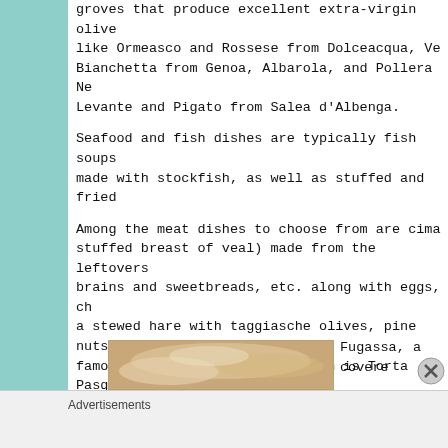groves that produce excellent extra-virgin olive like Ormeasco and Rossese from Dolceacqua, Ve Bianchetta from Genoa, Albarola, and Pollera Ne Levante and Pigato from Salea d'Albenga.
Seafood and fish dishes are typically fish soups made with stockfish, as well as stuffed and fried
Among the meat dishes to choose from are cima stuffed breast of veal) made from the leftovers brains and sweetbreads, etc. along with eggs, ch a stewed hare with taggiasche olives, pine nuts a famous stuffed pie of the region is Torta Pasqua pastry stuffed with greens, cheese and eggs.
[Figure (photo): Partial photo of food item, tan/cream colored pastry or bread]
Fugassa, a covere
Advertisements